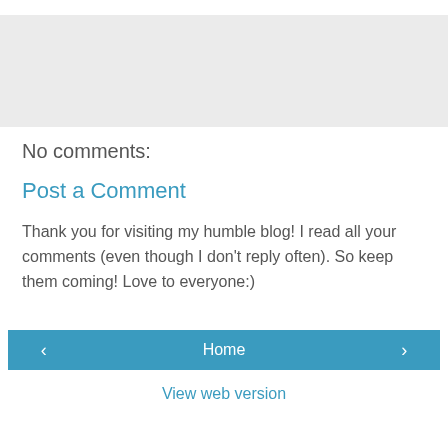[Figure (other): Gray background box at the top of the page]
No comments:
Post a Comment
Thank you for visiting my humble blog! I read all your comments (even though I don't reply often). So keep them coming! Love to everyone:)
‹  Home  ›
View web version